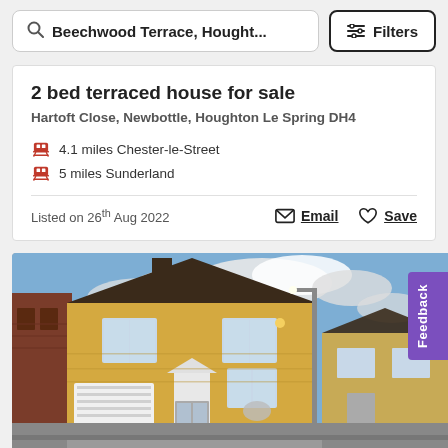Beechwood Terrace, Hought...
Filters
2 bed terraced house for sale
Hartoft Close, Newbottle, Houghton Le Spring DH4
4.1 miles Chester-le-Street
5 miles Sunderland
Listed on 26th Aug 2022
Email
Save
[Figure (photo): Exterior photo of a yellow brick terraced/detached house with white garage door, white front door, multiple windows, dark tiled roof, set on a residential street with blue sky and clouds in background.]